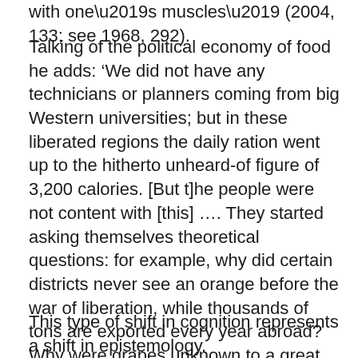with one’s muscles’ (2004, 133; see 1968, 292).
Talking of the political economy of food he adds: ‘We did not have any technicians or planners coming from big Western universities; but in these liberated regions the daily ration went up to the hitherto unheard-of figure of 3,200 calories. [But t]he people were not content with [this] …. They started asking themselves theoretical questions: for example, why did certain districts never see an orange before the war of liberation, while thousands of tons are exported every year abroad? Why were grapes unknown to a great many Algerians whereas the European peoples enjoyed them by the million? Today, the people have a very clear notion of what belongs to them.’
This type of shift in cognition represents a shift in epistemology.